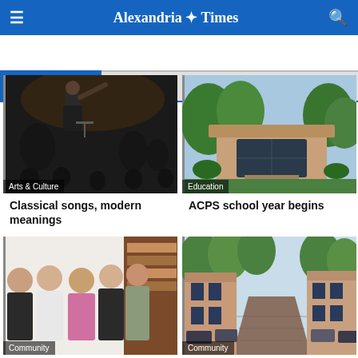Alexandria Times
LATEST NEWS
[Figure (photo): Orchestra conductor gesturing on stage with musicians in background, Arts & Culture category label]
Classical songs, modern meanings
[Figure (photo): School building exterior with trees, Education category label]
ACPS school year begins
[Figure (photo): Group of women standing together in an office or library, Community category label]
Teenswork program concludes
[Figure (photo): Brick-paved residential street lined with trees and parked cars, Community category label]
Hourly parking rates change